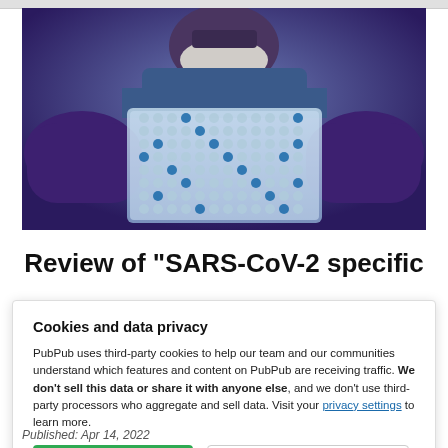[Figure (photo): A researcher in a face mask and blue protective gear holds up a transparent multi-well plate (ELISA or similar assay plate) with blue liquid in some wells, against a blurred laboratory background.]
Review of "SARS-CoV-2 specific
Cookies and data privacy
PubPub uses third-party cookies to help our team and our communities understand which features and content on PubPub are receiving traffic. We don't sell this data or share it with anyone else, and we don't use third-party processors who aggregate and sell data. Visit your privacy settings to learn more.
Published: Apr 14, 2022